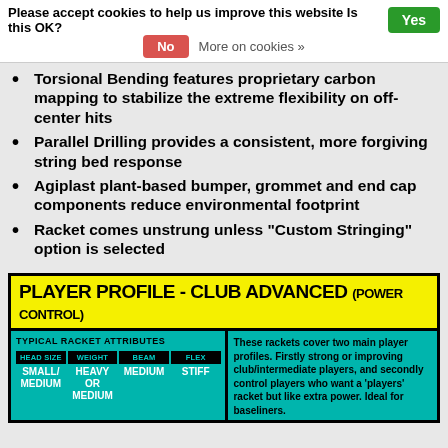Please accept cookies to help us improve this website Is this OK? Yes | No | More on cookies »
Torsional Bending features proprietary carbon mapping to stabilize the extreme flexibility on off-center hits
Parallel Drilling provides a consistent, more forgiving string bed response
Agiplast plant-based bumper, grommet and end cap components reduce environmental footprint
Racket comes unstrung unless "Custom Stringing" option is selected
[Figure (infographic): Player Profile - Club Advanced (Power Control) infographic showing typical racket attributes: Head Size: Small/Medium, Weight: Heavy or Medium, Beam: Medium, Flex: Stiff. Right side text: These rackets cover two main player profiles. Firstly strong or improving club/intermediate players, and secondly control players who want a 'players' racket but like extra power. Ideal for baseliners.]